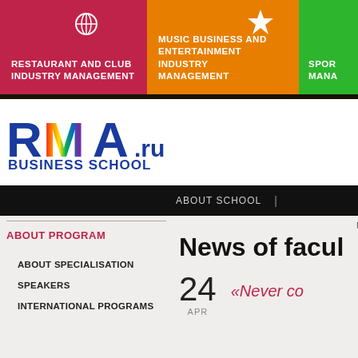[Figure (screenshot): Top navigation banner with three colored sections: Restaurant and Club Industry Management (crimson), Music Business and Entertainment Industry Management (orange), and Sports Management (green)]
[Figure (logo): RMA.ru Business School logo with rainbow-colored M]
ABOUT SCHOOL
Main > Restaurant and Club Industry
News of facul
ABOUT PROGRAM
ABOUT SPECIALISATION
SPEAKERS
INTERNATIONAL PROGRAMS
24 APR
«Never co